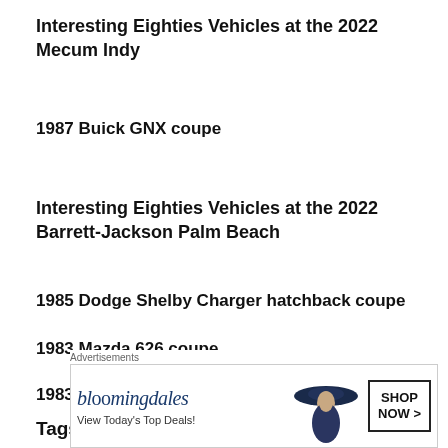Interesting Eighties Vehicles at the 2022 Mecum Indy
1987 Buick GNX coupe
Interesting Eighties Vehicles at the 2022 Barrett-Jackson Palm Beach
1985 Dodge Shelby Charger hatchback coupe
1983 Mazda 626 coupe
1983 Jaguar XJ6 sedan
Tags
[Figure (other): Bloomingdale's advertisement banner with woman in hat: 'View Today's Top Deals! SHOP NOW >']